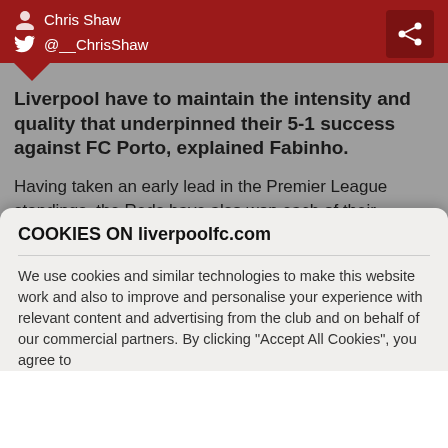Chris Shaw
@__ChrisShaw
Liverpool have to maintain the intensity and quality that underpinned their 5-1 success against FC Porto, explained Fabinho.
Having taken an early lead in the Premier League standings, the Reds have also won each of their opening two games in Champions League Group B.
Porto were defeated emphatically at Estadio do Dragao on Tuesday night as doubles from Mohamed Salah and Roberto Firmino complemented a Sadio Mane strike.
COOKIES ON liverpoolfc.com
We use cookies and similar technologies to make this website work and also to improve and personalise your experience with relevant content and advertising from the club and on behalf of our commercial partners. By clicking "Accept All Cookies", you agree to